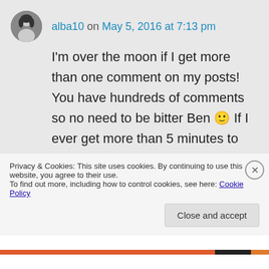alba10 on May 5, 2016 at 7:13 pm
I'm over the moon if I get more than one comment on my posts! You have hundreds of comments so no need to be bitter Ben 🙂 If I ever get more than 5 minutes to myself I'll go back and read more of your older posts whilst eating pizza and lying on the couch (just to get me in the groove)
Privacy & Cookies: This site uses cookies. By continuing to use this website, you agree to their use.
To find out more, including how to control cookies, see here: Cookie Policy
Close and accept